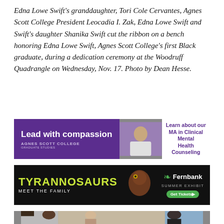Edna Lowe Swift's granddaughter, Tori Cole Cervantes, Agnes Scott College President Leocadia I. Zak, Edna Lowe Swift and Swift's daughter Shanika Swift cut the ribbon on a bench honoring Edna Lowe Swift, Agnes Scott College's first Black graduate, during a dedication ceremony at the Woodruff Quadrangle on Wednesday, Nov. 17. Photo by Dean Hesse.
[Figure (other): Agnes Scott College advertisement: 'Lead with compassion' with college branding and text 'Learn about our MA in Clinical Mental Health Counseling']
[Figure (other): Fernbank Museum advertisement for 'Tyrannosaurs: Meet the Family' Summer Exhibit with Get Tickets button]
[Figure (photo): Photograph of people at the bench dedication ceremony at Woodruff Quadrangle]